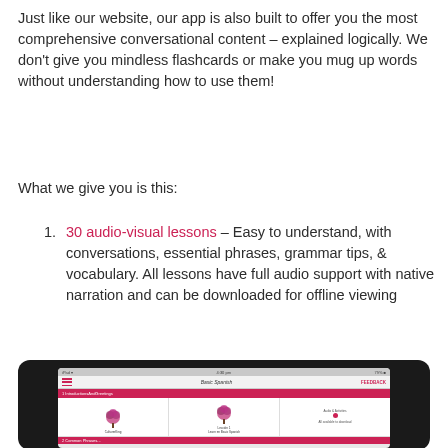Just like our website, our app is also built to offer you the most comprehensive conversational content – explained logically. We don't give you mindless flashcards or make you mug up words without understanding how to use them!
What we give you is this:
30 audio-visual lessons – Easy to understand, with conversations, essential phrases, grammar tips, & vocabulary. All lessons have full audio support with native narration and can be downloaded for offline viewing
[Figure (screenshot): Screenshot of a tablet app showing 'Basic Spanish' lesson app with navigation bar, lesson headers in pink/red, and lesson cards with tree icons and lesson content]